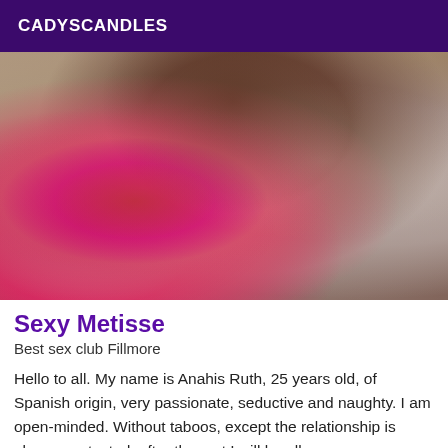CADYSCANDLES
[Figure (photo): Close-up photo of a person wearing a pink and dark sports bra/top, taken from above, with a necklace and ring visible.]
Sexy Metisse
Best sex club Fillmore
Hello to all. My name is Anahis Ruth, 25 years old, of Spanish origin, very passionate, seductive and naughty. I am open-minded. Without taboos, except the relationship is always protected, after the rest I will be all